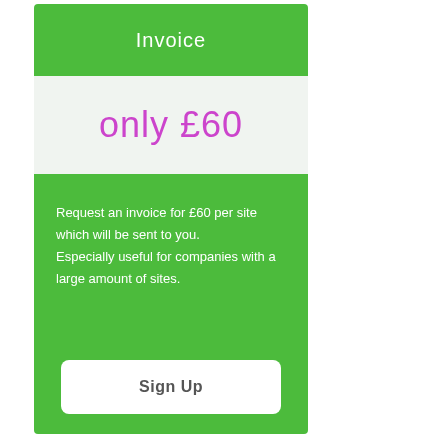Invoice
only £60
Request an invoice for £60 per site which will be sent to you. Especially useful for companies with a large amount of sites.
Sign Up